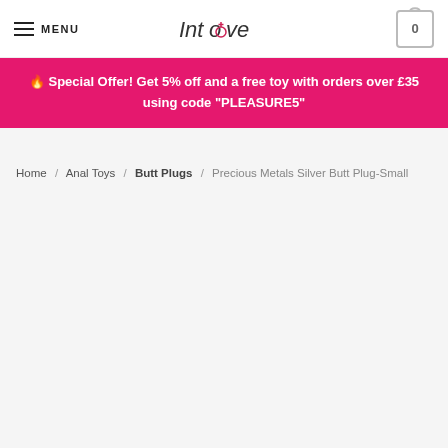MENU | IntoLove | 0
🔥 Special Offer! Get 5% off and a free toy with orders over £35 using code "PLEASURE5"
Home / Anal Toys / Butt Plugs / Precious Metals Silver Butt Plug-Small